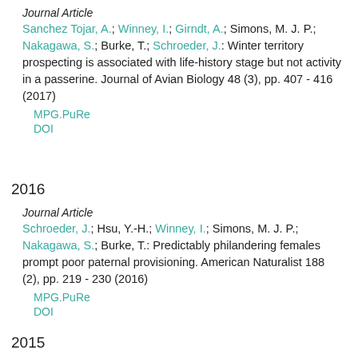Journal Article
Sanchez Tojar, A.; Winney, I.; Girndt, A.; Simons, M. J. P.; Nakagawa, S.; Burke, T.; Schroeder, J.: Winter territory prospecting is associated with life-history stage but not activity in a passerine. Journal of Avian Biology 48 (3), pp. 407 - 416 (2017)
MPG.PuRe
DOI
2016
Journal Article
Schroeder, J.; Hsu, Y.-H.; Winney, I.; Simons, M. J. P.; Nakagawa, S.; Burke, T.: Predictably philandering females prompt poor paternal provisioning. American Naturalist 188 (2), pp. 219 - 230 (2016)
MPG.PuRe
DOI
2015